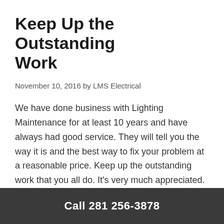Keep Up the Outstanding Work
November 10, 2016 by LMS Electrical
We have done business with Lighting Maintenance for at least 10 years and have always had good service. They will tell you the way it is and the best way to fix your problem at a reasonable price. Keep up the outstanding work that you all do. It's very much appreciated. Sam | Houston, TX
Filed Under: Testimonials
Tagged With: Houston, Texas
Call 281 256-3878